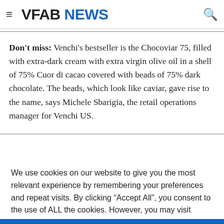VFAB NEWS
Don't miss: Venchi's bestseller is the Chocoviar 75, filled with extra-dark cream with extra virgin olive oil in a shell of 75% Cuor di cacao covered with beads of 75% dark chocolate. The beads, which look like caviar, gave rise to the name, says Michele Sbarigia, the retail operations manager for Venchi US.
We use cookies on our website to give you the most relevant experience by remembering your preferences and repeat visits. By clicking "Accept All", you consent to the use of ALL the cookies. However, you may visit "Cookie Settings" to provide a controlled consent.